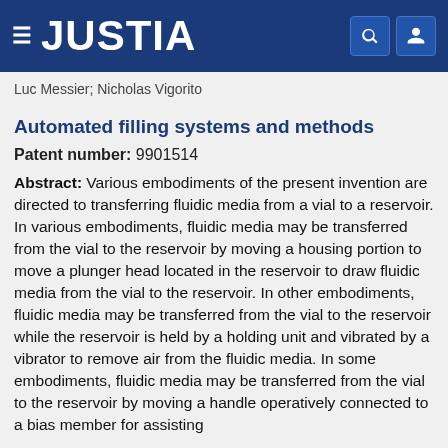JUSTIA
Luc Messier; Nicholas Vigorito
Automated filling systems and methods
Patent number: 9901514
Abstract: Various embodiments of the present invention are directed to transferring fluidic media from a vial to a reservoir. In various embodiments, fluidic media may be transferred from the vial to the reservoir by moving a housing portion to move a plunger head located in the reservoir to draw fluidic media from the vial to the reservoir. In other embodiments, fluidic media may be transferred from the vial to the reservoir while the reservoir is held by a holding unit and vibrated by a vibrator to remove air from the fluidic media. In some embodiments, fluidic media may be transferred from the vial to the reservoir by moving a handle operatively connected to a bias member for assisting